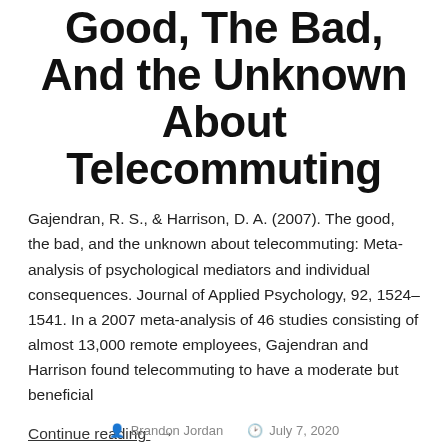Good, The Bad, And the Unknown About Telecommuting
Gajendran, R. S., & Harrison, D. A. (2007). The good, the bad, and the unknown about telecommuting: Meta-analysis of psychological mediators and individual consequences. Journal of Applied Psychology, 92, 1524–1541. In a 2007 meta-analysis of 46 studies consisting of almost 13,000 remote employees, Gajendran and Harrison found telecommuting to have a moderate but beneficial
Continue reading  →
Brandon Jordan   July 7, 2020